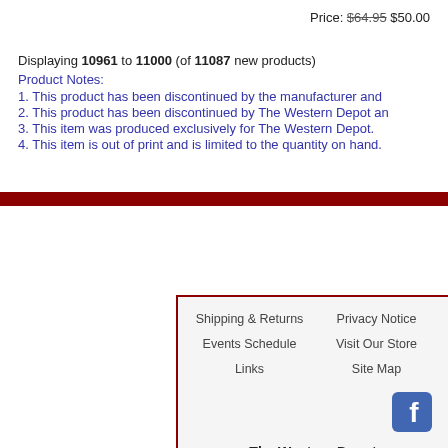Price: $64.95 $50.00
Displaying 10961 to 11000 (of 11087 new products)
Product Notes:
1. This product has been discontinued by the manufacturer and
2. This product has been discontinued by The Western Depot an
3. This item was produced exclusively for The Western Depot.
4. This item is out of print and is limited to the quantity on hand.
Shipping & Returns | Privacy Notice | Events Schedule | Visit Our Store | Links | Site Map | The Western Depot | 1650 Sierra Avenue Suite 203 | Yuba City, California 95993-8986 | Copyright © 2022 The